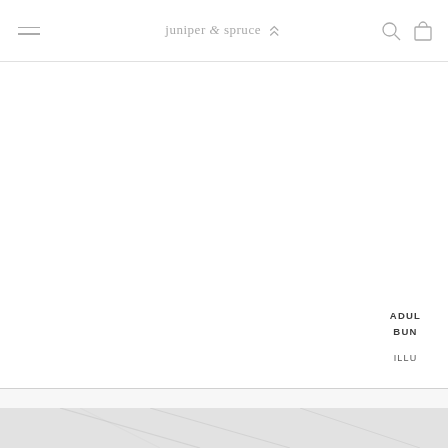juniper & spruce [navigation bar with hamburger menu, search icon, and cart icon]
ADULT BUNDLE
ILLU